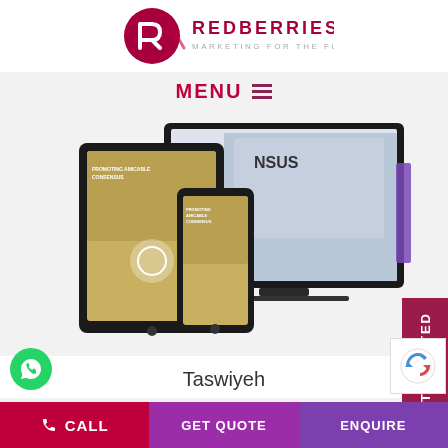[Figure (logo): Redberries logo - dark red circle with R arrow icon, text REDBERRIES MARKETING FOR THE FUTURE]
MENU ≡
[Figure (screenshot): Website mockup showing Taswiyeh website on laptop, tablet and mobile devices with gold and dark color scheme, text PROMOTING AMICABLE CONSENSUS]
Taswiyeh
[Figure (screenshot): Second website mockup showing Al Sayer website on desktop device with navigation bar]
[Figure (other): GET STARTED vertical side button in dark red]
[Figure (other): WhatsApp green circle button with WhatsApp icon]
[Figure (other): reCAPTCHA logo bottom right]
CALL   GET QUOTE   ENQUIRE